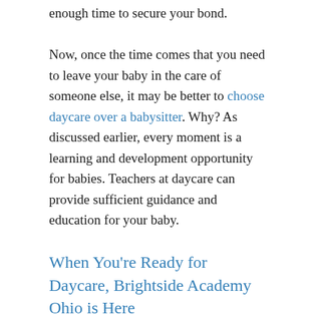enough time to secure your bond.
Now, once the time comes that you need to leave your baby in the care of someone else, it may be better to choose daycare over a babysitter. Why? As discussed earlier, every moment is a learning and development opportunity for babies. Teachers at daycare can provide sufficient guidance and education for your baby.
When You're Ready for Daycare, Brightside Academy Ohio is Here
Enrolling your child in daycare offers many benefits. Here at Brightside Academy Ohio, we offer an infant child care program that is carefully and specifically designed to fully support your baby's development. If you want to learn more about our programs, don't